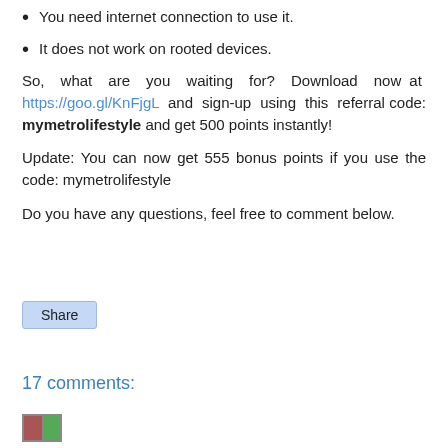You need internet connection to use it.
It does not work on rooted devices.
So, what are you waiting for? Download now at https://goo.gl/KnFjgL and sign-up using this referral code: mymetrolifestyle and get 500 points instantly!
Update: You can now get 555 bonus points if you use the code: mymetrolifestyle
Do you have any questions, feel free to comment below.
Share
17 comments: